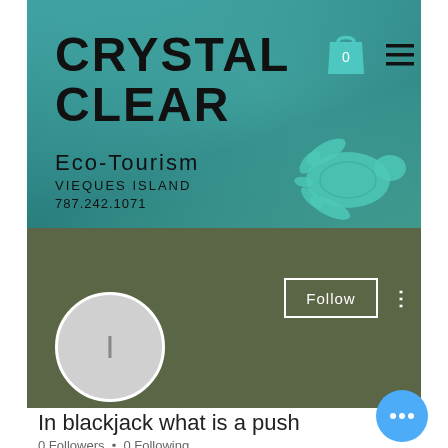[Figure (screenshot): Website header banner with teal underwater background showing 'Crystal Clear Eco-Tourism Vieques Island' branding with sea turtle illustration, shopping cart icon showing 0, and hamburger menu icon]
CRYSTAL CLEAR
Eco-Tourism
VIEQUES ISLAND
787.242.1071
Follow
In blackjack what is a push
0 Followers • 0 Following